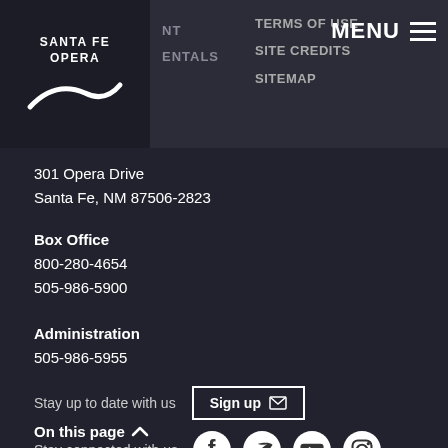SANTA FE OPERA | NT | RENTALS | TERMS OF USE | SITE CREDITS | SITEMAP | MENU
301 Opera Drive
Santa Fe, NM 87506-2823
Box Office
800-280-4654
505-986-5900
Administration
505-986-5955
Stay up to date with us  Sign up
Stay connected with us [Facebook, Twitter, YouTube, Instagram icons]
© The Santa Fe Opera, 2022
website by substrat
On this page ^